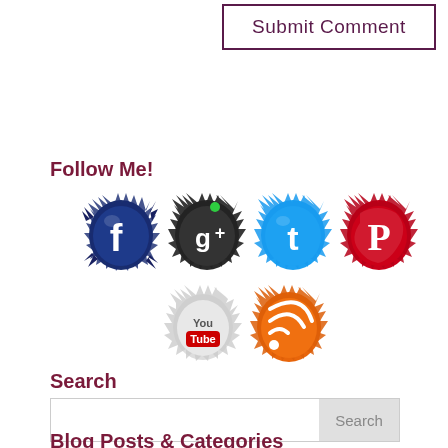Submit Comment
Follow Me!
[Figure (illustration): Six social media icons in a cracked wall style: Facebook, Google+, Twitter, Pinterest, YouTube, RSS feed]
Search
Search
Blog Posts & Categories